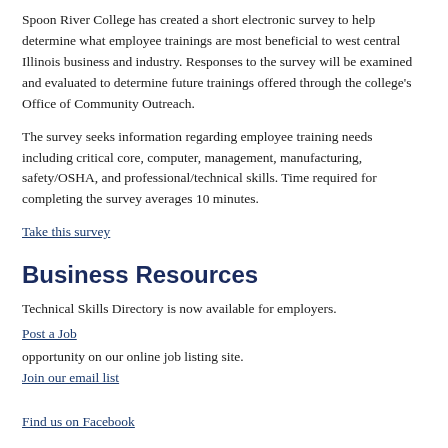Spoon River College has created a short electronic survey to help determine what employee trainings are most beneficial to west central Illinois business and industry. Responses to the survey will be examined and evaluated to determine future trainings offered through the college's Office of Community Outreach.
The survey seeks information regarding employee training needs including critical core, computer, management, manufacturing, safety/OSHA, and professional/technical skills. Time required for completing the survey averages 10 minutes.
Take this survey
Business Resources
Technical Skills Directory is now available for employers.
Post a Job opportunity on our online job listing site.
Join our email list
Find us on Facebook